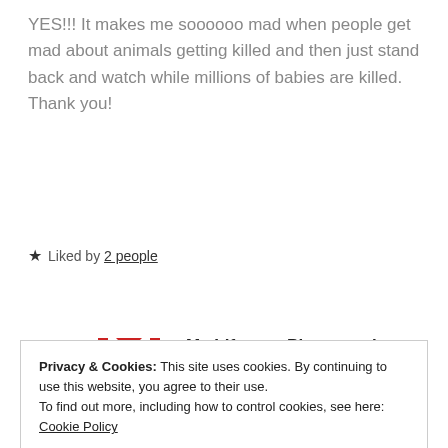YES!!! It makes me soooooo mad when people get mad about animals getting killed and then just stand back and watch while millions of babies are killed. Thank you!
★ Liked by 2 people
My Life as a Photographer
March 6, 2019
Privacy & Cookies: This site uses cookies. By continuing to use this website, you agree to their use.
To find out more, including how to control cookies, see here: Cookie Policy
Close and accept
★ Liked by 3 people